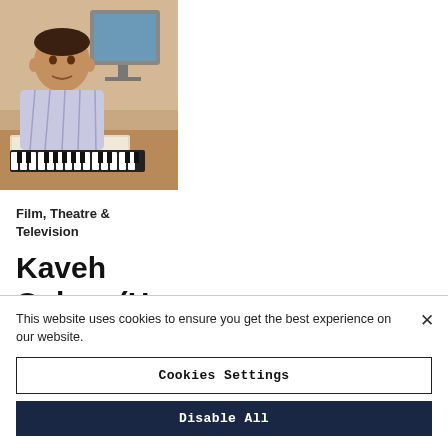[Figure (photo): Headshot of Kaveh Cohen seated at a music production studio with keyboard and monitors in the background.]
Film, Theatre &
Television
Kaveh
Cohen (H.
1987-89)
A veritable force
in motion picture
This website uses cookies to ensure you get the best experience on our website.
Cookies Settings
Disable All